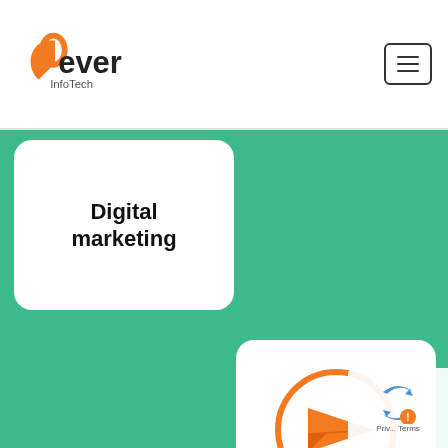[Figure (logo): Rever InfoTech logo with orange stylized R and black/grey text]
Digital marketing
[Figure (illustration): White card with orange circle containing a paper plane/send icon, labeled Search Engine Optimization.]
Search Engine Optimization.